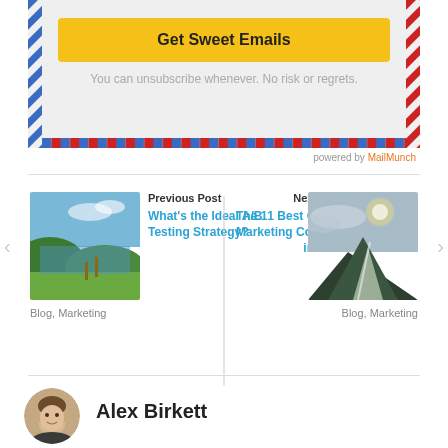[Figure (screenshot): Email signup widget with yellow 'Get Sweet Emails' button on grey background with airmail diagonal stripe borders]
You can unsubscribe whenever. No risk or regrets.
powered by MailMunch
[Figure (photo): Previous post thumbnail: lake with hills and blue sky]
Previous Post
What's the Ideal A/B Testing Strategy?
Blog, Marketing
Next Post
The 11 Best Online Marketing Courses in 2020
[Figure (photo): Next post thumbnail: snowy mountain slope with cloudy sky]
Blog, Marketing
[Figure (photo): Author photo of Alex Birkett]
Alex Birkett